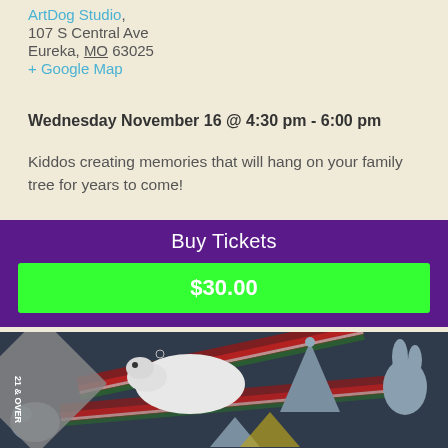ArtDog Studio, 107 S Central Ave Eureka, MO 63025 + Google Map
Wednesday November 16 @ 4:30 pm - 6:00 pm
Kiddos creating memories that will hang on your family tree for years to come!
Buy Tickets
$30.00
[Figure (photo): Ceramic ornament pieces in various holiday shapes (polar bear, Christmas tree, bunny, bird) on a dark background with plaid ribbon, with a '21 & OVER' banner overlay in the top left corner.]